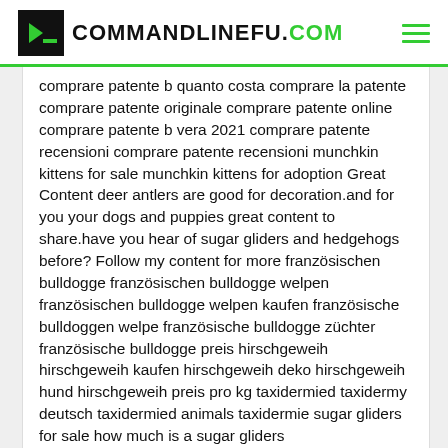COMMANDLINEFU.COM
comprare patente b quanto costa comprare la patente comprare patente originale comprare patente online comprare patente b vera 2021 comprare patente recensioni comprare patente recensioni munchkin kittens for sale munchkin kittens for adoption Great Content deer antlers are good for decoration.and for you your dogs and puppies great content to share.have you hear of sugar gliders and hedgehogs before? Follow my content for more französischen bulldogge französischen bulldogge welpen französischen bulldogge welpen kaufen französische bulldoggen welpe französische bulldogge züchter französische bulldogge preis hirschgeweih hirschgeweih kaufen hirschgeweih deko hirschgeweih hund hirschgeweih preis pro kg taxidermied taxidermy deutsch taxidermied animals taxidermie sugar gliders for sale how much is a sugar gliders